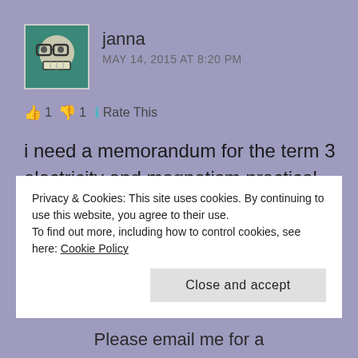[Figure (illustration): Avatar image of a cartoon face with glasses and large teeth on a teal/green background]
janna
MAY 14, 2015 AT 8:20 PM
👍 1 👎 1 ℹ Rate This
i need a memorandum for the term 3 electricity and magnetism practical
★ Like
REPLY
Privacy & Cookies: This site uses cookies. By continuing to use this website, you agree to their use.
To find out more, including how to control cookies, see here: Cookie Policy
Close and accept
Please email me for a